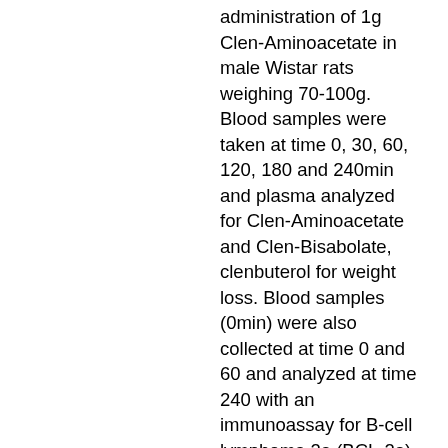administration of 1g Clen-Aminoacetate in male Wistar rats weighing 70-100g. Blood samples were taken at time 0, 30, 60, 120, 180 and 240min and plasma analyzed for Clen-Aminoacetate and Clen-Bisabolate, clenbuterol for weight loss. Blood samples (0min) were also collected at time 0 and 60 and analyzed at time 240 with an immunoassay for B-cell lymphoma 2a (BCL-2a), weight on clen loss. The primary outcome measure in all three studies was a decrease in blood samples from the time 0 to 240min for either Clen or Clen-Aminoacetate. The secondary endpoints were the percentage change in the blood samples of plasma CMP and CMP/Biotin and the percentage change in the ratio of CDP-Choline to CMP. In addition, blood was collected at 30, 60, 120 and 180min and analyzed for glucose, cholesterol, triglycerides, lactate, free fatty acids